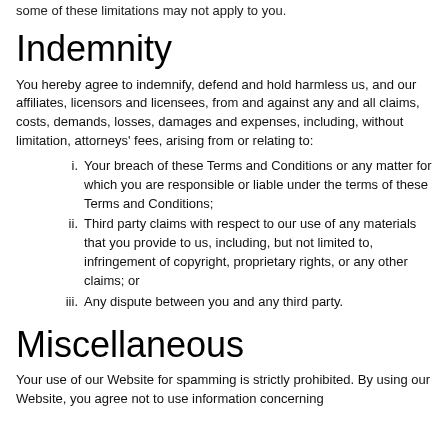some of these limitations may not apply to you.
Indemnity
You hereby agree to indemnify, defend and hold harmless us, and our affiliates, licensors and licensees, from and against any and all claims, costs, demands, losses, damages and expenses, including, without limitation, attorneys' fees, arising from or relating to:
Your breach of these Terms and Conditions or any matter for which you are responsible or liable under the terms of these Terms and Conditions;
Third party claims with respect to our use of any materials that you provide to us, including, but not limited to, infringement of copyright, proprietary rights, or any other claims; or
Any dispute between you and any third party.
Miscellaneous
Your use of our Website for spamming is strictly prohibited. By using our Website, you agree not to use information concerning